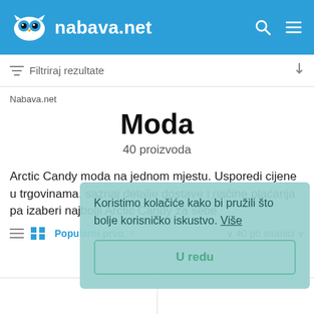nabava.net
Filtriraj rezultate
Nabava.net
Moda
40 proizvoda
Arctic Candy moda na jednom mjestu. Usporedi cijene u trgovinama, saznaj detalje dostave i načine plaćanja pa izaberi najbolji Arctic Candy za sebe
Popularni prvo
40 po stranici
Koristimo kolačiće kako bi pružili što bolje korisničko iskustvo. Više
U redu